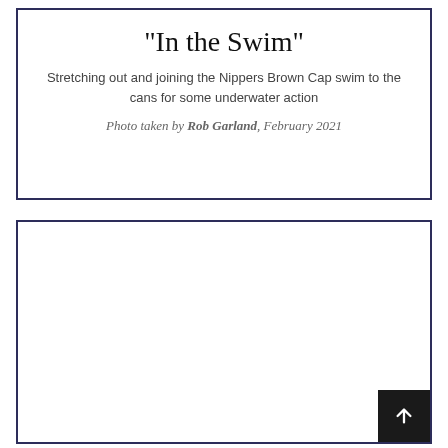"In the Swim"
Stretching out and joining the Nippers Brown Cap swim to the cans for some underwater action
Photo taken by Rob Garland, February 2021
[Figure (photo): White/blank image area inside a bordered box with a dark arrow button in the bottom right corner]